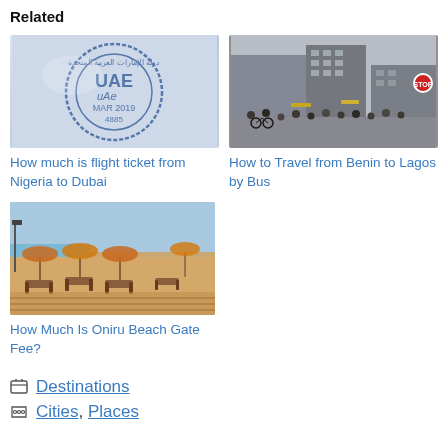Related
[Figure (photo): Close-up of UAE passport stamp dated MAR 2019 with Arabic text and stamp number 4885]
How much is flight ticket from Nigeria to Dubai
[Figure (photo): Busy street scene in Lagos, Nigeria with pedestrians, vehicles, and multi-story buildings]
How to Travel from Benin to Lagos by Bus
[Figure (photo): Outdoor beach area with wooden lounge chairs and thatched umbrellas at Oniru Beach]
How Much Is Oniru Beach Gate Fee?
Destinations
Cities, Places